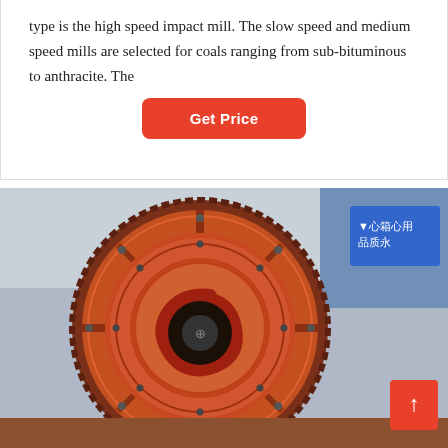type is the high speed impact mill. The slow speed and medium speed mills are selected for coals ranging from sub-bituminous to anthracite. The
[Figure (other): Button labeled 'Get Price' in red/orange with rounded corners, centered below the text block]
[Figure (photo): Close-up photograph of a large industrial ball mill or coal grinding mill, painted orange/red, showing the circular front face with concentric rings, bolts, and a central opening. Chinese text signage visible in upper right background. A red scroll-to-top button overlays the bottom-right corner.]